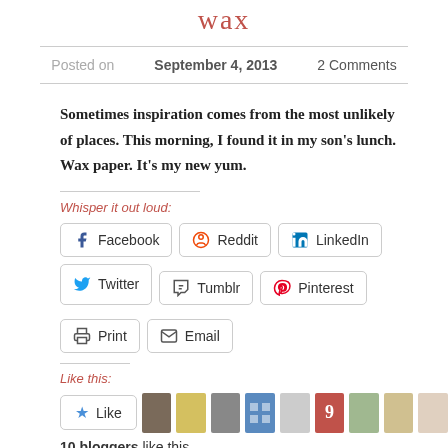wax
Posted on September 4, 2013   2 Comments
Sometimes inspiration comes from the most unlikely of places. This morning, I found it in my son's lunch. Wax paper. It's my new yum.
Whisper it out loud:
Facebook Reddit LinkedIn Twitter Tumblr Pinterest Print Email
Like this:
10 bloggers like this.